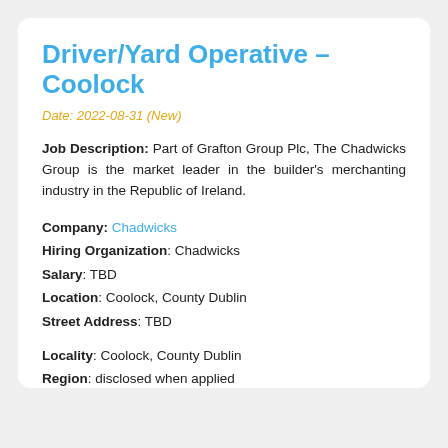Driver/Yard Operative – Coolock
Date: 2022-08-31 (New)
Job Description: Part of Grafton Group Plc, The Chadwicks Group is the market leader in the builder's merchanting industry in the Republic of Ireland.
Company: Chadwicks
Hiring Organization: Chadwicks
Salary: TBD
Location: Coolock, County Dublin
Street Address: TBD
Locality: Coolock, County Dublin
Region: disclosed when applied